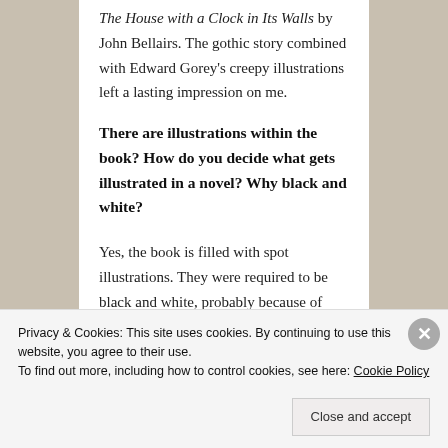The House with a Clock in Its Walls by John Bellairs. The gothic story combined with Edward Gorey's creepy illustrations left a lasting impression on me.
There are illustrations within the book? How do you decide what gets illustrated in a novel? Why black and white?
Yes, the book is filled with spot illustrations. They were required to be black and white, probably because of printing costs, but I
Privacy & Cookies: This site uses cookies. By continuing to use this website, you agree to their use.
To find out more, including how to control cookies, see here: Cookie Policy
Close and accept